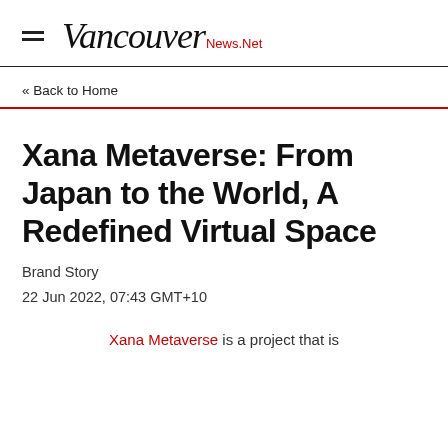Vancouver News.Net
« Back to Home
Xana Metaverse: From Japan to the World, A Redefined Virtual Space
Brand Story
22 Jun 2022, 07:43 GMT+10
Xana Metaverse is a project that is